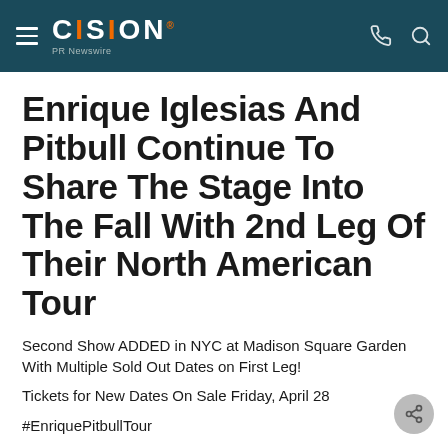CISION PR Newswire
Enrique Iglesias And Pitbull Continue To Share The Stage Into The Fall With 2nd Leg Of Their North American Tour
Second Show ADDED in NYC at Madison Square Garden With Multiple Sold Out Dates on First Leg!
Tickets for New Dates On Sale Friday, April 28
#EnriquePitbullTour